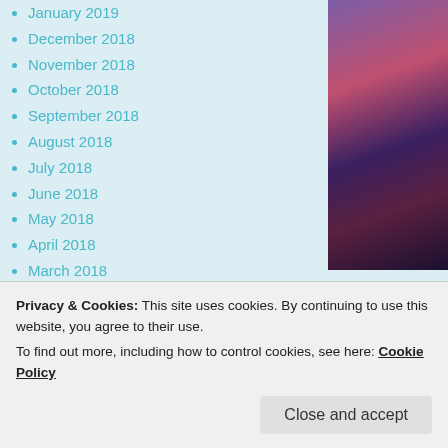January 2019
December 2018
November 2018
October 2018
September 2018
August 2018
July 2018
June 2018
May 2018
April 2018
March 2018
February 2018
January 2018
December 2017
November 2017
October 2017
September 2017
[Figure (photo): Purple/pink landscape photo visible in top right corner]
Psalm 19: 1-4. ""The heavens decl... after day they pour forth speech; ni...
Privacy & Cookies: This site uses cookies. By continuing to use this website, you agree to their use. To find out more, including how to control cookies, see here: Cookie Policy